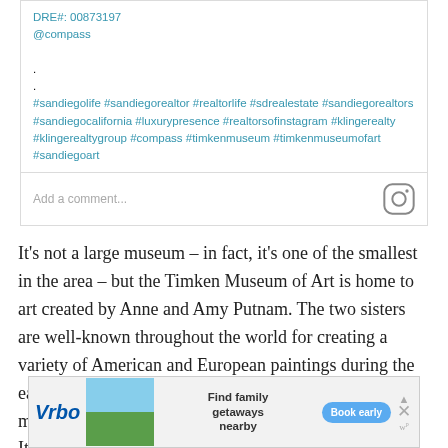[Figure (screenshot): Instagram post caption area showing DRE#: 00873197, @compass, dots, and hashtags including #sandiegolife #sandiegorealtor #realtorlife #sdrealestate #sandiegorealtors #sandiegocalifornia #luxurypresence #realtorsofinstagram #klingerealty #klingerealtygroup #compass #timkenmuseum #timkenmuseumofart #sandiegoart, with an Add a comment... field and Instagram icon]
It's not a large museum – in fact, it's one of the smallest in the area – but the Timken Museum of Art is home to art created by Anne and Amy Putnam. The two sisters are well-known throughout the world for creating a variety of American and European paintings during the early 20th century.  But that's not all there is to see. The museum is also home to a variety of paintings from the Italian
[Figure (screenshot): Vrbo advertisement banner showing Vrbo logo, beach house image, 'Find family getaways nearby' text, 'Book early' button, and X close button]